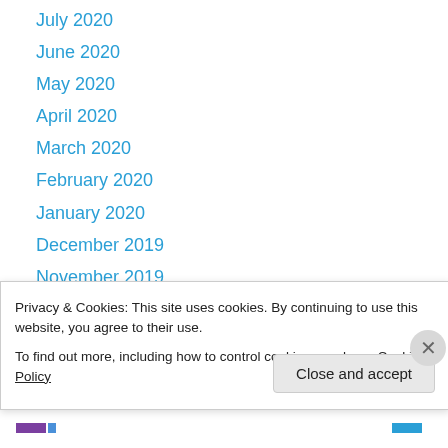July 2020
June 2020
May 2020
April 2020
March 2020
February 2020
January 2020
December 2019
November 2019
October 2019
September 2019
August 2019
July 2019
Privacy & Cookies: This site uses cookies. By continuing to use this website, you agree to their use.
To find out more, including how to control cookies, see here: Cookie Policy
Close and accept